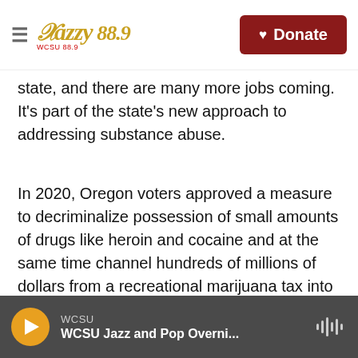Jazzy 88.9 WCSU — Donate
state, and there are many more jobs coming. It's part of the state's new approach to addressing substance abuse.
In 2020, Oregon voters approved a measure to decriminalize possession of small amounts of drugs like heroin and cocaine and at the same time channel hundreds of millions of dollars from a recreational marijuana tax into helping people battle addiction. The idea is to address substance abuse through public health channels instead of the criminal justice system.
WCSU — WCSU Jazz and Pop Overni...